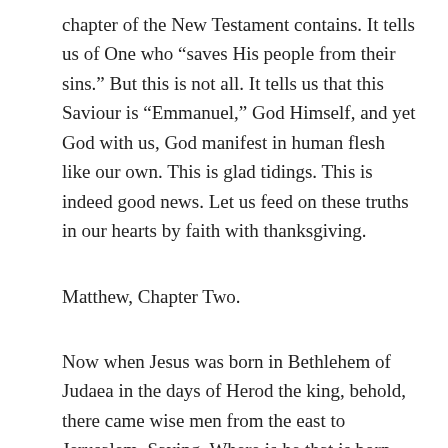chapter of the New Testament contains. It tells us of One who “saves His people from their sins.” But this is not all. It tells us that this Saviour is “Emmanuel,” God Himself, and yet God with us, God manifest in human flesh like our own. This is glad tidings. This is indeed good news. Let us feed on these truths in our hearts by faith with thanksgiving.
Matthew, Chapter Two.
Now when Jesus was born in Bethlehem of Judaea in the days of Herod the king, behold, there came wise men from the east to Jerusalem, Saying, Where is he that is born King of the Jews? for we have seen his star in the east, and are come to worship him.